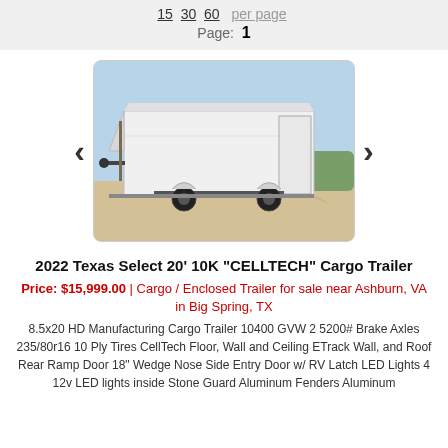15  30  60  per page
Page: 1
[Figure (photo): Photo of a white enclosed cargo trailer parked outdoors on a sandy surface with blue sky and vegetation in background. The trailer is a rectangular box-style trailer with a wedge nose, aluminum fenders, and a ramp door at the rear.]
2022 Texas Select 20' 10K "CELLTECH" Cargo Trailer
Price: $15,999.00  |  Cargo / Enclosed Trailer for sale near Ashburn, VA in Big Spring, TX
8.5x20 HD Manufacturing Cargo Trailer 10400 GVW 2 5200# Brake Axles 235/80r16 10 Ply Tires CellTech Floor, Wall and Ceiling ETrack Wall, and Roof Rear Ramp Door 18" Wedge Nose Side Entry Door w/ RV Latch LED Lights 4 12v LED lights inside Stone Guard Aluminum Fenders Aluminum